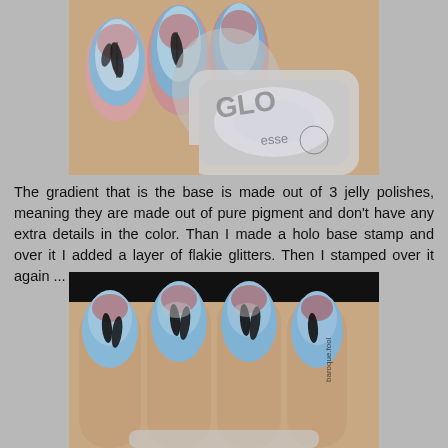[Figure (photo): Close-up photo of hand with decorated nails showing gradient blue/pink/coral base with black feather stamp designs and a silver holographic nail polish bottle in the foreground.]
The gradient that is the base is made out of 3 jelly polishes, meaning they are made out of pure pigment and don't have any extra details in the color. Than I made a holo base stamp and over it I added a layer of flakie glitters. Then I stamped over it again ...
[Figure (photo): Photo of four fingers with decorated nails showing gradient blue/pink/coral base with black feather stamp designs, with a watermark reading 'baroque.fool'.]